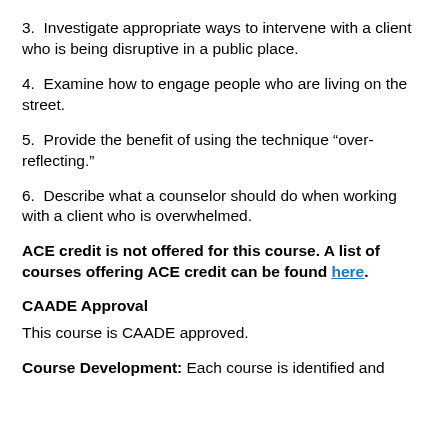3.  Investigate appropriate ways to intervene with a client who is being disruptive in a public place.
4.  Examine how to engage people who are living on the street.
5.  Provide the benefit of using the technique “over-reflecting.”
6.  Describe what a counselor should do when working with a client who is overwhelmed.
ACE credit is not offered for this course. A list of courses offering ACE credit can be found here.
CAADE Approval
This course is CAADE approved.
Course Development: Each course is identified and